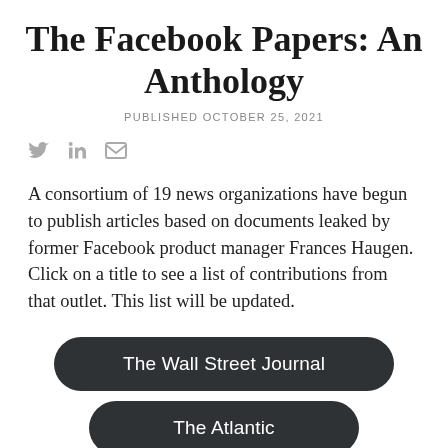The Facebook Papers: An Anthology
PUBLISHED OCTOBER 25, 2021
[Figure (other): Social share icons: Twitter bird, LinkedIn 'in', envelope/email]
A consortium of 19 news organizations have begun to publish articles based on documents leaked by former Facebook product manager Frances Haugen. Click on a title to see a list of contributions from that outlet. This list will be updated.
The Wall Street Journal
The Atlantic